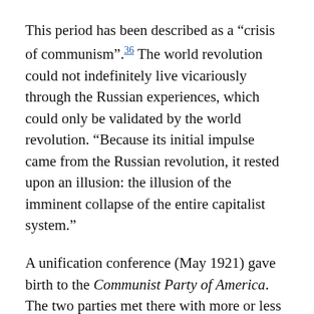This period has been described as a “crisis of communism”.36 The world revolution could not indefinitely live vicariously through the Russian experiences, which could only be validated by the world revolution. “Because its initial impulse came from the Russian revolution, it rested upon an illusion: the illusion of the imminent collapse of the entire capitalist system.”
A unification conference (May 1921) gave birth to the Communist Party of America. The two parties met there with more or less equal but not at all homogeneous forces. The new program followed the Communist International line, at least on paper: “The Communist Party condemns the position of those revolutionaries who abandon the existing unions”: not only did it participate in the elections, but its